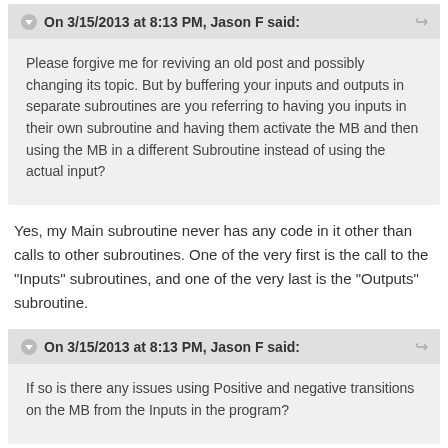On 3/15/2013 at 8:13 PM, Jason F said:
Please forgive me for reviving an old post and possibly changing its topic. But by buffering your inputs and outputs in separate subroutines are you referring to having you inputs in their own subroutine and having them activate the MB and then using the MB in a different Subroutine instead of using the actual input?
Yes, my Main subroutine never has any code in it other than calls to other subroutines. One of the very first is the call to the "Inputs" subroutines, and one of the very last is the "Outputs" subroutine.
On 3/15/2013 at 8:13 PM, Jason F said:
If so is there any issues using Positive and negative transitions on the MB from the Inputs in the program?
I would say first that you should specify what you regard as an issue.
But beyond that, I would contend that there are certain caveats with